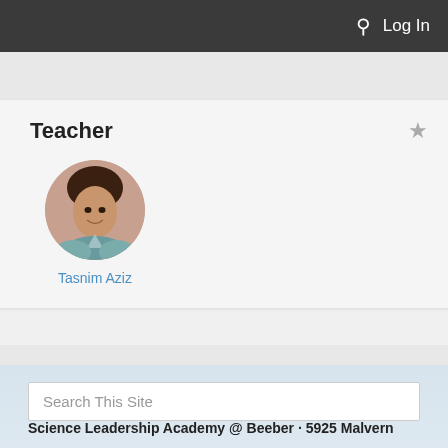Log In
Teacher
[Figure (photo): Circular profile photo of Tasnim Aziz, a young woman smiling]
Tasnim Aziz
Search This Site
Science Leadership Academy @ Beeber · 5925 Malvern